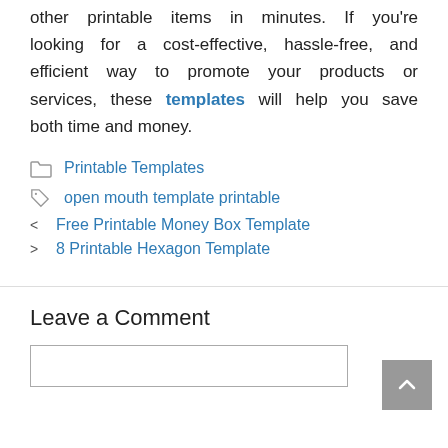other printable items in minutes. If you're looking for a cost-effective, hassle-free, and efficient way to promote your products or services, these templates will help you save both time and money.
Printable Templates
open mouth template printable
Free Printable Money Box Template
8 Printable Hexagon Template
Leave a Comment